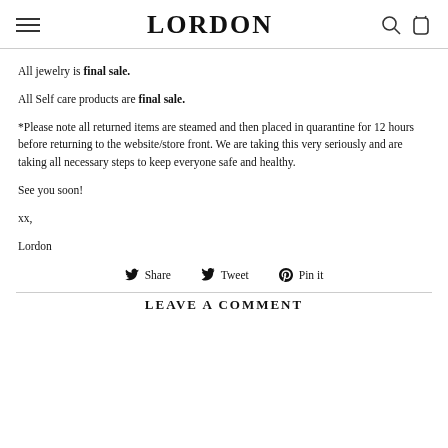LORDON
All jewelry is final sale.
All Self care products are final sale.
*Please note all returned items are steamed and then placed in quarantine for 12 hours before returning to the website/store front. We are taking this very seriously and are taking all necessary steps to keep everyone safe and healthy.
See you soon!
xx,
Lordon
Share  Tweet  Pin it